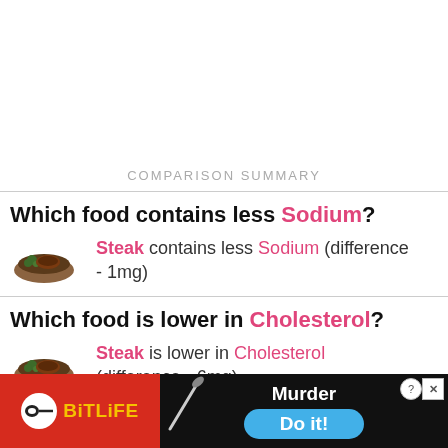COMPARISON SUMMARY
Which food contains less Sodium?
Steak contains less Sodium (difference - 1mg)
Which food is lower in Cholesterol?
Steak is lower in Cholesterol (difference - 6mg)
Which
[Figure (screenshot): BitLife advertisement banner with red background, BitLife logo, knife graphic, Murder Do it! text on dark background with blue button]